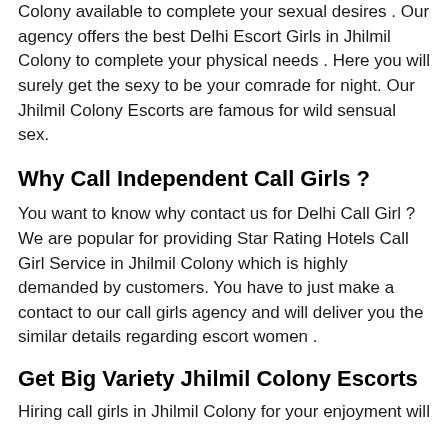Colony available to complete your sexual desires . Our agency offers the best Delhi Escort Girls in Jhilmil Colony to complete your physical needs . Here you will surely get the sexy to be your comrade for night. Our Jhilmil Colony Escorts are famous for wild sensual sex.
Why Call Independent Call Girls ?
You want to know why contact us for Delhi Call Girl ? We are popular for providing Star Rating Hotels Call Girl Service in Jhilmil Colony which is highly demanded by customers. You have to just make a contact to our call girls agency and will deliver you the similar details regarding escort women .
Get Big Variety Jhilmil Colony Escorts
Hiring call girls in Jhilmil Colony for your enjoyment will